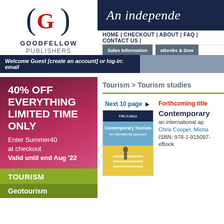[Figure (logo): Goodfellow Publishers logo: stylized G in red with dark navy parentheses, text GOODFELLOW PUBLISHERS below]
An independe...
HOME | CHECKOUT | ABOUT | FAQ | CONTACT US |
Sales Information | eBooks & Dow...
Welcome Guest [create an account] or log-in:  email
40% OFF EVERYTHING LIMITED TIME ONLY
Enter Summer40 at checkout
Valid until end Aug '22
TOURISM
Geotourism
Tourism > Tourism studies
Next 10 page
[Figure (illustration): Book cover: Contemporary Tourism: An international approach, Fifth Edition]
Forthcoming title
Contemporary...
an international ap...
Chris Cooper, Micha...
ISBN: 978-1-915097-...
eBook